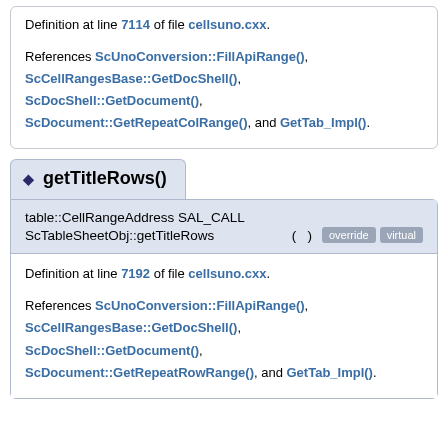Definition at line 7114 of file cellsuno.cxx.
References ScUnoConversion::FillApiRange(), ScCellRangesBase::GetDocShell(), ScDocShell::GetDocument(), ScDocument::GetRepeatColRange(), and GetTab_Impl().
◆ getTitleRows()
table::CellRangeAddress SAL_CALL ScTableSheetObj::getTitleRows ( ) override virtual
Definition at line 7192 of file cellsuno.cxx.
References ScUnoConversion::FillApiRange(), ScCellRangesBase::GetDocShell(), ScDocShell::GetDocument(), ScDocument::GetRepeatRowRange(), and GetTab_Impl().